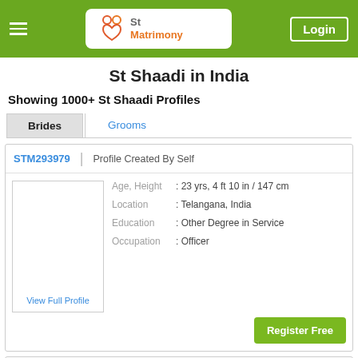St Matrimony | Login
St Shaadi in India
Showing 1000+ St Shaadi Profiles
Brides | Grooms
STM293979 | Profile Created By Self
Age, Height : 23 yrs, 4 ft 10 in / 147 cm
Location : Telangana, India
Education : Other Degree in Service
Occupation : Officer
View Full Profile
Register Free
My name is Pathloth Madhumathi and I am working as a Associate in the Private sector. I have complet... more